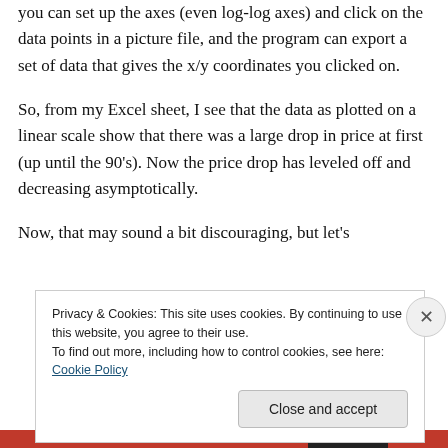you can set up the axes (even log-log axes) and click on the data points in a picture file, and the program can export a set of data that gives the x/y coordinates you clicked on.
So, from my Excel sheet, I see that the data as plotted on a linear scale show that there was a large drop in price at first (up until the 90's). Now the price drop has leveled off and decreasing asymptotically.
Now, that may sound a bit discouraging, but let's
Privacy & Cookies: This site uses cookies. By continuing to use this website, you agree to their use.
To find out more, including how to control cookies, see here: Cookie Policy